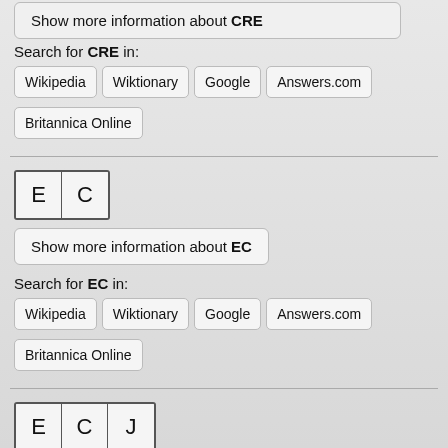Show more information about CRE
Search for CRE in:
Wikipedia | Wiktionary | Google | Answers.com
Britannica Online
[Figure (other): Letter boxes showing E and C]
Show more information about EC
Search for EC in:
Wikipedia | Wiktionary | Google | Answers.com
Britannica Online
[Figure (other): Letter boxes showing E, C and J]
Show more information about ECJ
Search for EC J in: